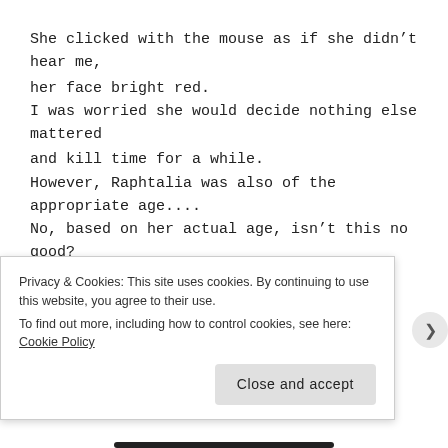She clicked with the mouse as if she didn't hear me, her face bright red.
I was worried she would decide nothing else mattered and kill time for a while.
However, Raphtalia was also of the appropriate age....
No, based on her actual age, isn't this no good?
She was the same age as me in our census though.
“This is....” (Raphtalia)
“He~y.” (Naofumi)
“Hyau!” (Raphtalia)
Privacy & Cookies: This site uses cookies. By continuing to use this website, you agree to their use.
To find out more, including how to control cookies, see here: Cookie Policy
Close and accept